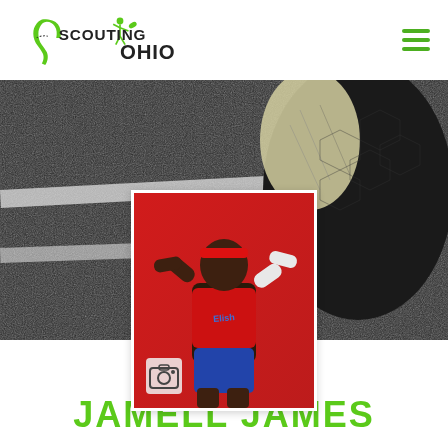[Figure (logo): Scouting Ohio logo with Ohio state outline in green and figure throwing a ball, text SCOUTING OHIO]
[Figure (photo): Black and white close-up photo of a football on a field with yard lines visible, used as banner background]
[Figure (photo): Athlete Jamell James posing in red uniform flexing biceps against red background, with camera icon overlay at bottom left]
JAMELL JAMES